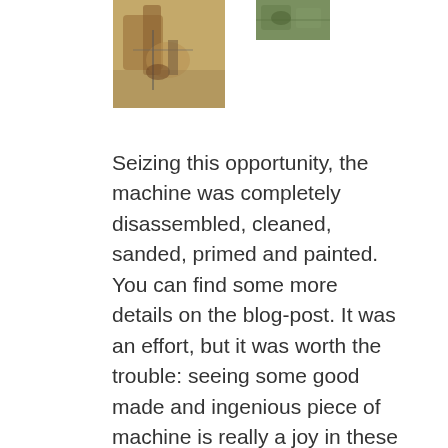[Figure (photo): Partial view of a disassembled or rusted mechanical machine/tool, brownish-golden tones, close-up showing metallic components]
[Figure (photo): Partial view of another mechanical machine component, greenish-gray tones, top-right corner crop]
Seizing this opportunity, the machine was completely disassembled, cleaned, sanded, primed and painted. You can find some more details on the blog-post. It was an effort, but it was worth the trouble: seeing some good made and ingenious piece of machine is really a joy in these days...